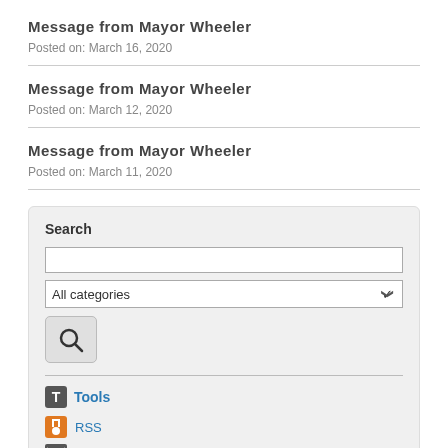Message from Mayor Wheeler
Posted on: March 16, 2020
Message from Mayor Wheeler
Posted on: March 12, 2020
Message from Mayor Wheeler
Posted on: March 11, 2020
Search
Tools
RSS
Notify Me®
View Archived